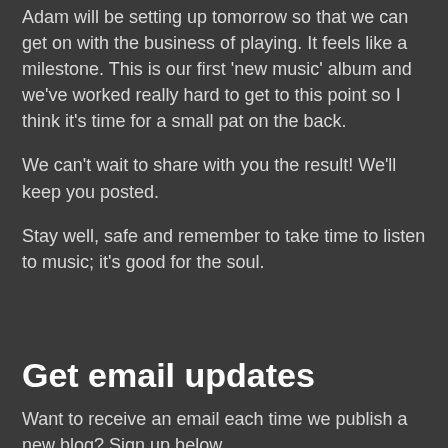Adam will be setting up tomorrow so that we can get on with the business of playing. It feels like a milestone. This is our first 'new music' album and we've worked really hard to get to this point so I think it's time for a small pat on the back.
We can't wait to share with you the result! We'll keep you posted.
Stay well, safe and remember to take time to listen to music; it's good for the soul.
Get email updates
Want to receive an email each time we publish a new blog? Sign up below.